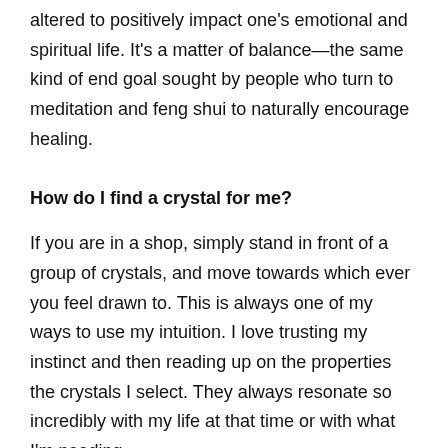altered to positively impact one's emotional and spiritual life. It's a matter of balance—the same kind of end goal sought by people who turn to meditation and feng shui to naturally encourage healing.
How do I find a crystal for me?
If you are in a shop, simply stand in front of a group of crystals, and move towards which ever you feel drawn to. This is always one of my ways to use my intuition. I love trusting my instinct and then reading up on the properties the crystals I select. They always resonate so incredibly with my life at that time or with what I'm needing.
How can I use them in my daily life?
Meditation. Holding a crystal during meditation can help align your vibrational energy with that of the